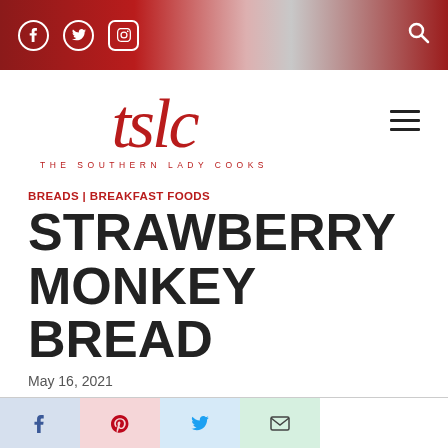The Southern Lady Cooks - navigation bar with social icons (Facebook, Twitter, Instagram) and search
[Figure (logo): tslc script logo with tagline THE SOUTHERN LADY COOKS in red]
BREADS | BREAKFAST FOODS
STRAWBERRY MONKEY BREAD
May 16, 2021
[Figure (infographic): Social share buttons: Facebook (blue-grey), Pinterest (pink), Twitter (light blue), Email (light green)]